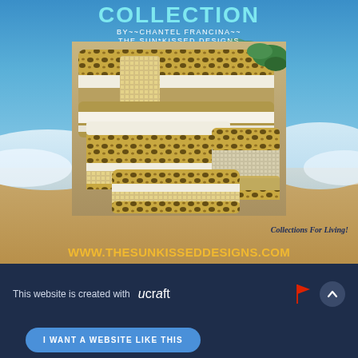COLLECTION BY~~CHANTEL FRANCINA~~ THE SUN*KISSED DESIGNS
[Figure (photo): Decorative throw pillows with leopard print, gold/cream stripes and rhinestone embellishments arranged on a beach background with ocean waves]
Collections For Living!
WWW.THESUNKISSEDDESIGNS.COM
This website is created with ucraft
I WANT A WEBSITE LIKE THIS